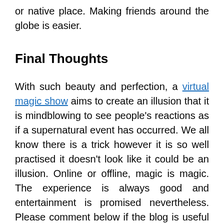or native place. Making friends around the globe is easier.
Final Thoughts
With such beauty and perfection, a virtual magic show aims to create an illusion that it is mindblowing to see people's reactions as if a supernatural event has occurred. We all know there is a trick however it is so well practised it doesn't look like it could be an illusion. Online or offline, magic is magic. The experience is always good and entertainment is promised nevertheless. Please comment below if the blog is useful and follow up with Haze Magazine for further updates about automation systems, virtual events, business, entertainment and technology.